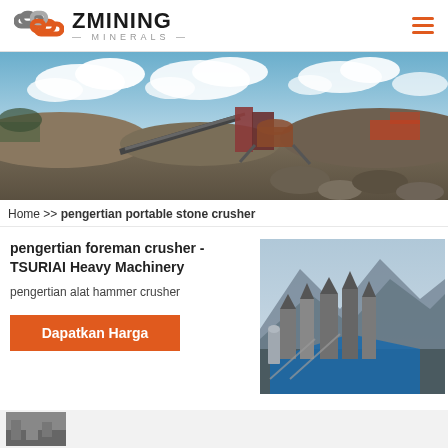[Figure (logo): ZMining Minerals logo with interlocking chain-link icon in orange and gray, with ZMINING text and MINERALS tagline]
[Figure (photo): Wide panoramic photo of a mining site with heavy industrial crushing/processing equipment, conveyor belts, excavated earth mounds, and partly cloudy sky]
Home >> pengertian portable stone crusher
pengertian foreman crusher - TSURIAI Heavy Machinery
pengertian alat hammer crusher
Dapatkan Harga
[Figure (photo): Photo of industrial mining or stone processing facility with metal silos, conveyors, blue tarp covering, and mountains in background]
[Figure (photo): Partial thumbnail of another mining/machinery photo at the bottom strip]